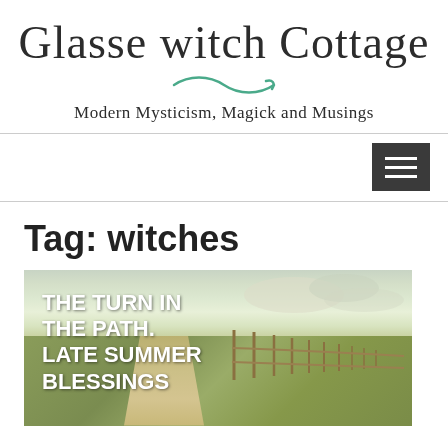Glasse Witch Cottage
Modern Mysticism, Magick and Musings
[Figure (screenshot): Hamburger menu icon button (three horizontal lines) on dark background in navigation bar]
Tag: witches
[Figure (photo): Blog post featured image showing a rural path with wooden fence beside grassy hill under cloudy sky, with overlay text reading: THE TURN IN THE PATH. LATE SUMMER BLESSINGS]